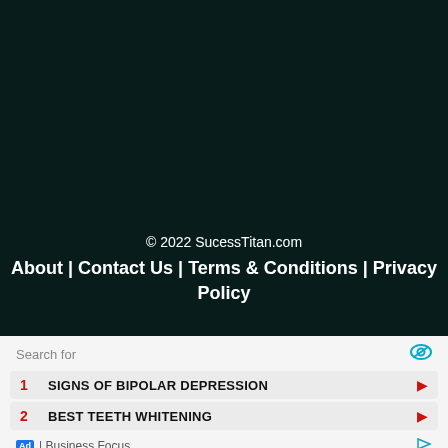© 2022 SucessTitan.com
About | Contact Us | Terms & Conditions | Privacy Policy
Search for
1  SIGNS OF BIPOLAR DEPRESSION
2  BEST TEETH WHITENING
Ad | Business Focus